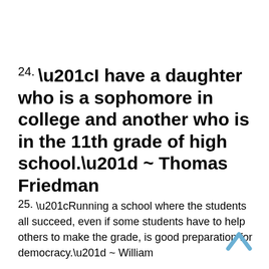24. “I have a daughter who is a sophomore in college and another who is in the 11th grade of high school.” ~ Thomas Friedman
25. “Running a school where the students all succeed, even if some students have to help others to make the grade, is good preparation for democracy.” ~ William